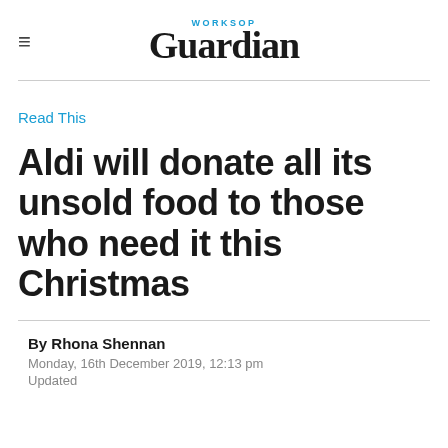WORKSOP Guardian
Read This
Aldi will donate all its unsold food to those who need it this Christmas
By Rhona Shennan
Monday, 16th December 2019, 12:13 pm
Updated